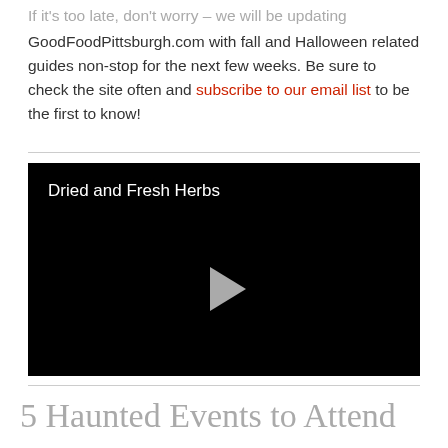If it's too late, don't worry – we will be updating GoodFoodPittsburgh.com with fall and Halloween related guides non-stop for the next few weeks. Be sure to check the site often and subscribe to our email list to be the first to know!
[Figure (screenshot): Black video player thumbnail with title 'Dried and Fresh Herbs' and a play button in the center]
5 Haunted Events to Attend